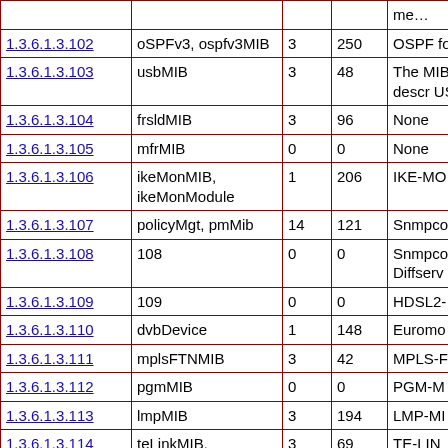| OID | Name | Col1 | Col2 | Description |
| --- | --- | --- | --- | --- |
|  |  |  |  | me… |
| 1.3.6.1.3.102 | oSPFv3, ospfv3MIB | 3 | 250 | OSPF fo |
| 1.3.6.1.3.103 | usbMIB | 3 | 48 | The MIB to descr USB int |
| 1.3.6.1.3.104 | frsldMIB | 3 | 96 | None |
| 1.3.6.1.3.105 | mfrMIB | 0 | 0 | None |
| 1.3.6.1.3.106 | ikeMonMIB, ikeMonModule | 1 | 206 | IKE-MO |
| 1.3.6.1.3.107 | policyMgt, pmMib | 14 | 121 | Snmpco MIB |
| 1.3.6.1.3.108 | 108 | 0 | 0 | Snmpco Diffserv MIB |
| 1.3.6.1.3.109 | 109 | 0 | 0 | HDSL2- MIB |
| 1.3.6.1.3.110 | dvbDevice | 1 | 148 | Euromo |
| 1.3.6.1.3.111 | mplsFTNMIB | 3 | 42 | MPLS-F |
| 1.3.6.1.3.112 | pgmMIB | 0 | 0 | PGM-M |
| 1.3.6.1.3.113 | lmpMIB | 3 | 194 | LMP-MI |
| 1.3.6.1.3.114 | teLinkMIB, linkBundlingMIB | 3 | 69 | TE-LIN |